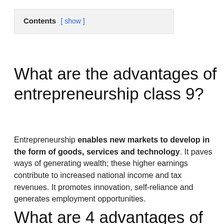What are the advantages of entrepreneurship class 9?
Entrepreneurship enables new markets to develop in the form of goods, services and technology. It paves ways of generating wealth; these higher earnings contribute to increased national income and tax revenues. It promotes innovation, self-reliance and generates employment opportunities.
What are 4 advantages of